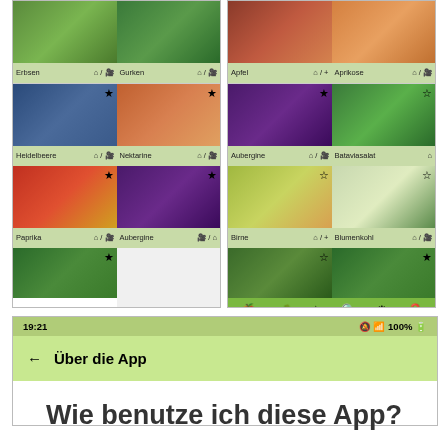[Figure (screenshot): Mobile app screenshots showing a plant/vegetable grid with items Erbsen, Gurken, Apfel, Aprikose, Heidelbeere, Nektarine, Aubergine, Bataviasalat, Paprika, Aubergine, Birne, Blumenkohl, and partial broccoli rows. Two phone screenshots side by side. Bottom screenshot shows status bar with 19:21 time and 'Über die App' app bar.]
Wie benutze ich diese App?